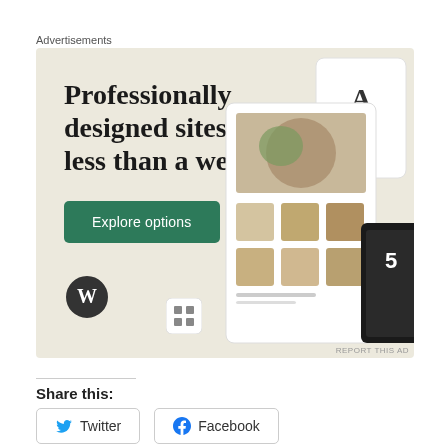Advertisements
[Figure (illustration): WordPress advertisement banner with beige/cream background. Large serif text reads 'Professionally designed sites in less than a week'. Green button 'Explore options'. WordPress logo at bottom left. Mockup screenshots of websites on right side.]
REPORT THIS AD
Share this:
Twitter
Facebook